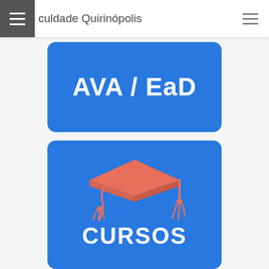culdade Quirinópolis
[Figure (infographic): Blue rounded rectangle button with white bold text 'AVA / EaD']
[Figure (infographic): Blue rounded rectangle card with salmon/coral graduation cap icon and white bold text 'CURSOS' at the bottom]